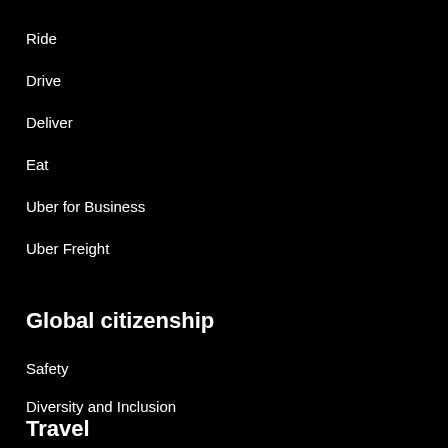Ride
Drive
Deliver
Eat
Uber for Business
Uber Freight
Global citizenship
Safety
Diversity and Inclusion
Travel